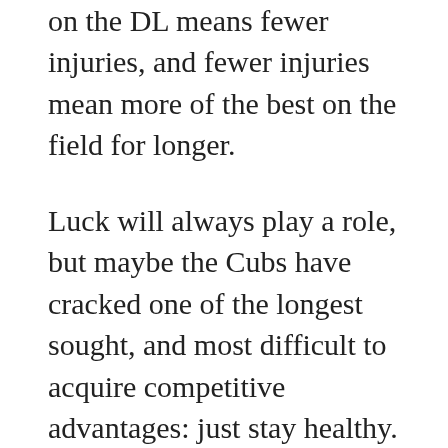on the DL means fewer injuries, and fewer injuries mean more of the best on the field for longer.
Luck will always play a role, but maybe the Cubs have cracked one of the longest sought, and most difficult to acquire competitive advantages: just stay healthy.
ADVERTISEMENT